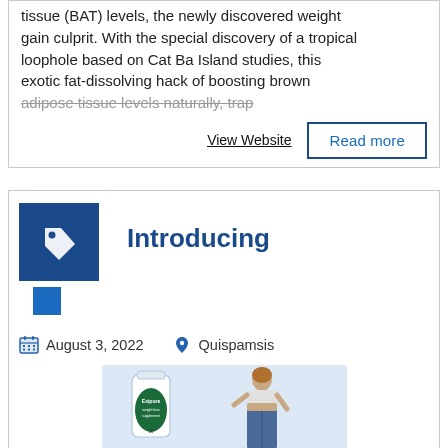tissue (BAT) levels, the newly discovered weight gain culprit. With the special discovery of a tropical loophole based on Cat Ba Island studies, this exotic fat-dissolving hack of boosting brown adipose tissue levels naturally, trap
View Website
Read more
Introducing
August 3, 2022
Quispamsis
[Figure (photo): Product image showing Exipure supplement bottle next to a woman in a sports bra and jeans]